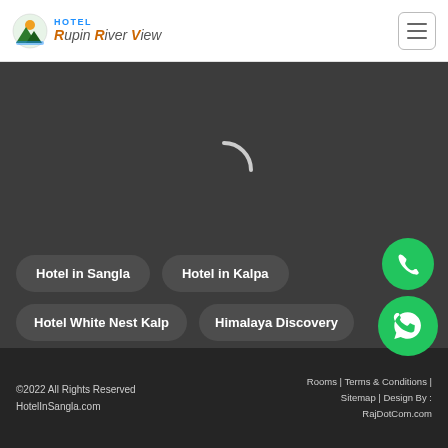[Figure (logo): Hotel Rupin River View logo with mountain/sun icon]
[Figure (other): Hamburger menu icon (three horizontal lines) in a rounded rectangle button]
[Figure (other): Loading spinner (white arc on dark grey background)]
Hotel in Sangla
Hotel in Kalpa
Hotel White Nest Kalp
Himalaya Discovery
[Figure (other): Green circular phone call button]
[Figure (other): Green circular WhatsApp button]
©2022 All Rights Reserved HotelInSangla.com   Rooms | Terms & Conditions | Sitemap | Design By : RajDotCom.com